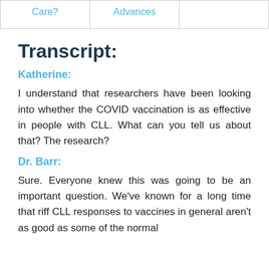| Care? | Advances |  |
| --- | --- | --- |
|   |   |   |
Transcript:
Katherine:
I understand that researchers have been looking into whether the COVID vaccination is as effective in people with CLL. What can you tell us about that? The research?
Dr. Barr:
Sure. Everyone knew this was going to be an important question. We've known for a long time that riff CLL responses to vaccines in general aren't as good as some of the normal